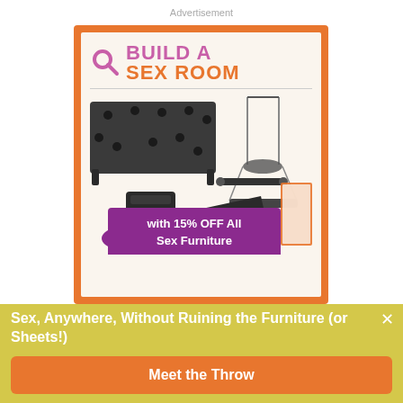Advertisement
[Figure (illustration): Advertisement for 'Build a Sex Room' with product images of sex furniture including a bondage board, swing, wedge cushion, and purple pad, with a purple banner showing '15% OFF All Sex Furniture' and an orange background]
Sex, Anywhere, Without Ruining the Furniture (or Sheets!)
Meet the Throw